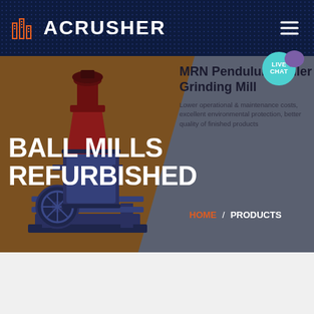[Figure (screenshot): ACRUSHER company website screenshot showing header with logo and navigation, hero section with 'BALL MILLS REFURBISHED' title over a brown background with ball mill machinery image, and an MRN Pendulum Roller Grinding Mill product card on a gray background, plus a live chat button.]
ACRUSHER
BALL MILLS REFURBISHED
MRN Pendulum Roller Grinding Mill
Lower operational & maintenance costs, excellent environmental protection, better quality of finished products
HOME / PRODUCTS